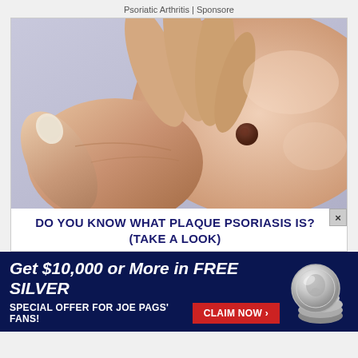Psoriatic Arthritis | Sponsore
[Figure (photo): Close-up photo of a hand touching skin with a mole/lesion, on a light background. The image depicts skin examination relevant to plaque psoriasis.]
DO YOU KNOW WHAT PLAQUE PSORIASIS IS? (TAKE A LOOK)
[Figure (infographic): Advertisement banner with dark navy background. Text reads 'Get $10,000 or More in FREE SILVER' and 'SPECIAL OFFER FOR JOE PAGS FANS!' with a red 'CLAIM NOW ›' button and silver coins image on right.]